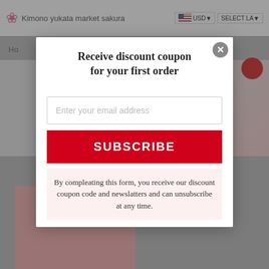Kimono yukata market sakura | USD | SELECT LA
Receive discount coupon
for your first order
Enter your email address
SUBSCRIBE
By compleating this form, you receive our discount coupon code and newslatters and can unsubscribe at any time.